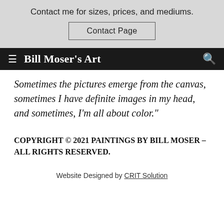Contact me for sizes, prices, and mediums.
Contact Page
≡  Bill Moser's Art  🔍
Sometimes the pictures emerge from the canvas, sometimes I have definite images in my head, and sometimes, I'm all about color."
COPYRIGHT © 2021 PAINTINGS BY BILL MOSER – ALL RIGHTS RESERVED.
Website Designed by CRIT Solution